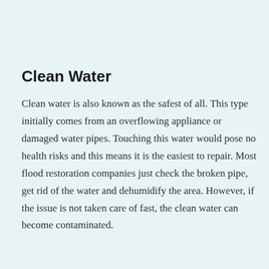Clean Water
Clean water is also known as the safest of all. This type initially comes from an overflowing appliance or damaged water pipes. Touching this water would pose no health risks and this means it is the easiest to repair. Most flood restoration companies just check the broken pipe, get rid of the water and dehumidify the area. However, if the issue is not taken care of fast, the clean water can become contaminated.